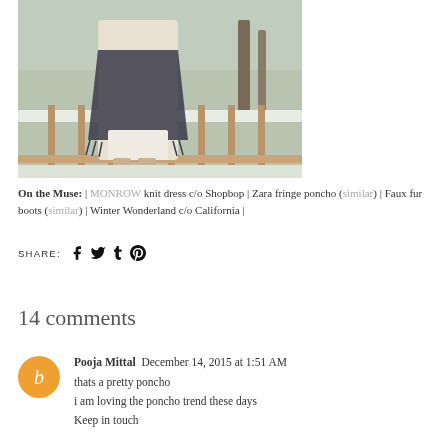[Figure (photo): Person wearing a white knit dress and dark fringe poncho standing on a snowy wooden deck with trees in the background]
On the Muse: | MONROW knit dress c/o Shopbop | Zara fringe poncho (similar) | Faux fur boots (similar) | Winter Wonderland c/o California |
SHARE: [social icons: facebook, twitter, tumblr, pinterest]
14 comments
Pooja Mittal  December 14, 2015 at 1:51 AM
thats a pretty poncho
i am loving the poncho trend these days
Keep in touch